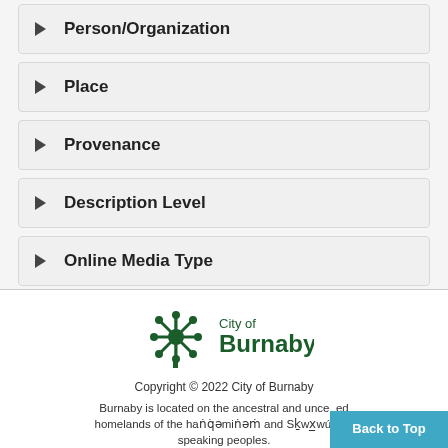Person/Organization
Place
Provenance
Description Level
Online Media Type
[Figure (logo): City of Burnaby logo — dark green snowflake/tree icon with 'City of Burnaby' text]
Copyright © 2022 City of Burnaby
Burnaby is located on the ancestral and unceded homelands of the həṅq̓əmiṅəṁ and Sḵwx̱wú7mesh speaking peoples.